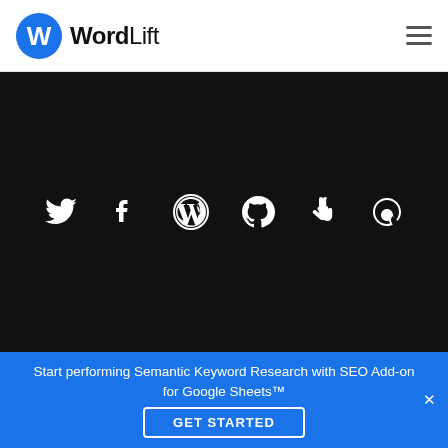[Figure (logo): WordLift logo: blue circle with white W letter followed by bold 'Word' and regular 'Lift' text]
[Figure (infographic): Dark black section with six social/platform icons: Twitter bird, Facebook f, WordPress logo, GitHub octocat, peace hand sign, Quora Q]
Start performing Semantic Keyword Research with SEO Add-on for Google Sheets™
GET STARTED